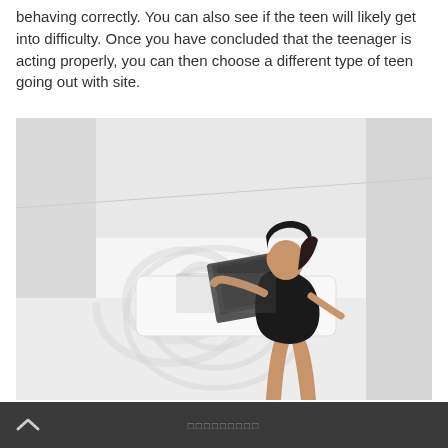behaving correctly. You can also see if the teen will likely get into difficulty. Once you have concluded that the teenager is acting properly, you can then choose a different type of teen going out with site.
[Figure (photo): A woman in a black bodysuit leaning over a white surface with a laptop in a bright white studio setting with a spiral design on the wall.]
▲  □□□□□□□□□